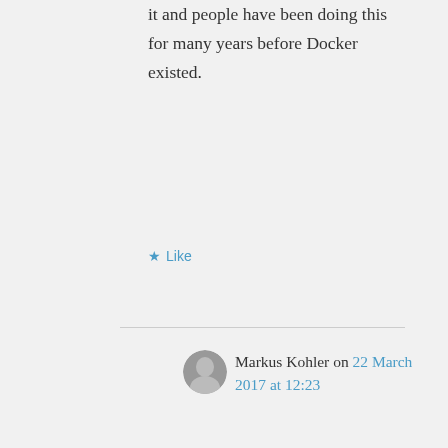it and people have been doing this for many years before Docker existed.
Like
Markus Kohler on 22 March 2017 at 12:23
in reply to Curt J Sampson :
My use case might
Advertisements
[Figure (photo): Ulta Beauty advertisement banner showing makeup-related photos and SHOP NOW call to action]